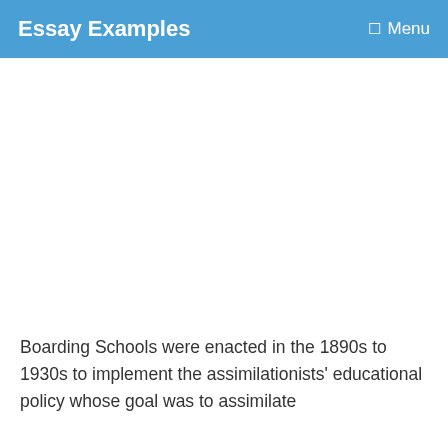Essay Examples  Menu
Boarding Schools were enacted in the 1890s to 1930s to implement the assimilationists' educational policy whose goal was to assimilate